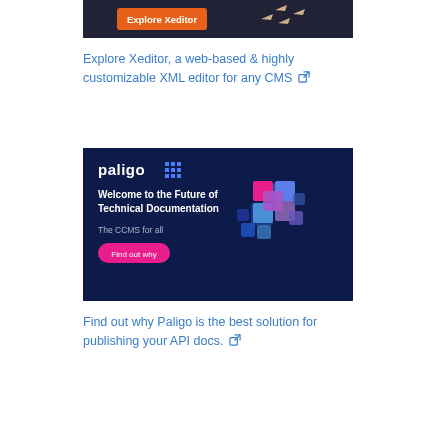[Figure (screenshot): Xeditor banner advertisement with orange 'Explore Xeditor' button and cursor arrows on dark background]
Explore Xeditor, a web-based & highly customizable XML editor for any CMS ↗
[Figure (screenshot): Paligo advertisement banner on dark navy background with logo, 'Welcome to the Future of Technical Documentation', 'The CCMS for all', pink 'Find out why' button, and 3D cube graphic made of colored squares]
Find out why Paligo is the best solution for publishing your API docs. ↗